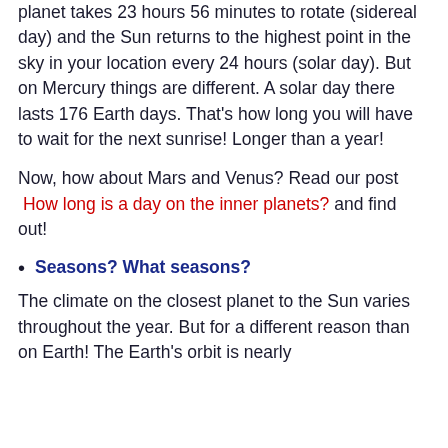planet takes 23 hours 56 minutes to rotate (sidereal day) and the Sun returns to the highest point in the sky in your location every 24 hours (solar day). But on Mercury things are different. A solar day there lasts 176 Earth days. That's how long you will have to wait for the next sunrise! Longer than a year!
Now, how about Mars and Venus? Read our post  How long is a day on the inner planets? and find out!
Seasons? What seasons?
The climate on the closest planet to the Sun varies throughout the year. But for a different reason than on Earth! The Earth's orbit is nearly